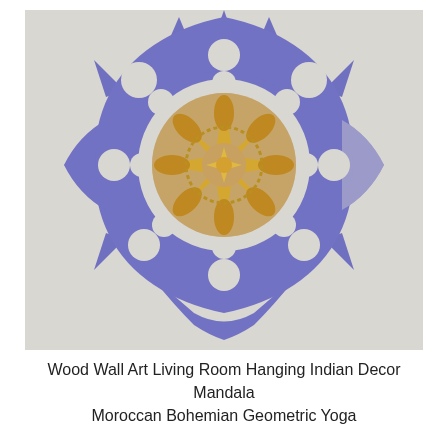[Figure (photo): A decorative wood wall art piece shaped as a mandala with intricate laser-cut geometric and floral patterns. The outer layer is painted in a medium periwinkle/purple-blue color with complex Moroccan and Indian-inspired cutout designs including peacock-like motifs, petals, and geometric shapes. The inner circular center is natural wood (light tan/beige) with a detailed star and flower pattern. The mandala is photographed hanging on a plain off-white/light grey wall.]
Wood Wall Art Living Room Hanging Indian Decor Mandala Moroccan Bohemian Geometric Yoga